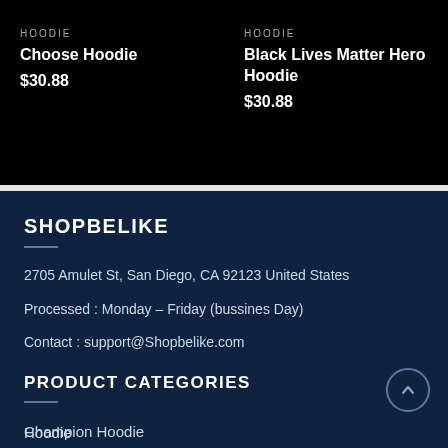HOODIE
Choose Hoodie
$30.88
HOODIE
Black Lives Matter Hero Hoodie
$30.88
SHOPBELIKE
2705 Amulet St, San Diego, CA 92123 United States
Processed : Monday – Friday (bussines Day)
Contact : support@Shopbelike.com
PRODUCT CATEGORIES
Champion Hoodie
Hoodie